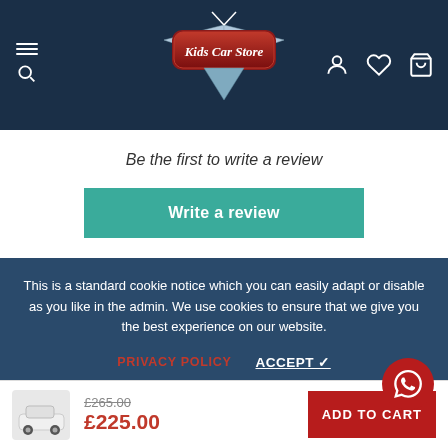Kids Car Store — navigation header with logo, hamburger/search, user, wishlist, cart icons
Be the first to write a review
Write a review
This is a standard cookie notice which you can easily adapt or disable as you like in the admin. We use cookies to ensure that we give you the best experience on our website.
PRIVACY POLICY   ACCEPT ✓
The Products Our Customers Like The Most
£265.00  £225.00  ADD TO CART